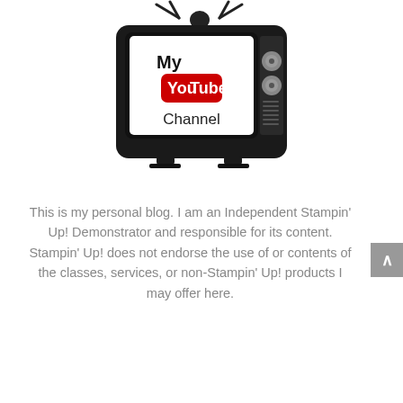[Figure (illustration): A vintage-style black television set with antennas on top, displaying 'My YouTube Channel' text with a YouTube logo on the screen, and dial knobs on the right side.]
This is my personal blog. I am an Independent Stampin’ Up! Demonstrator and responsible for its content. Stampin’ Up! does not endorse the use of or contents of the classes, services, or non-Stampin’ Up! products I may offer here.